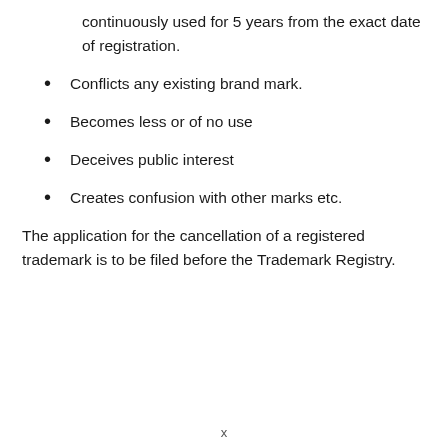continuously used for 5 years from the exact date of registration.
Conflicts any existing brand mark.
Becomes less or of no use
Deceives public interest
Creates confusion with other marks etc.
The application for the cancellation of a registered trademark is to be filed before the Trademark Registry.
x